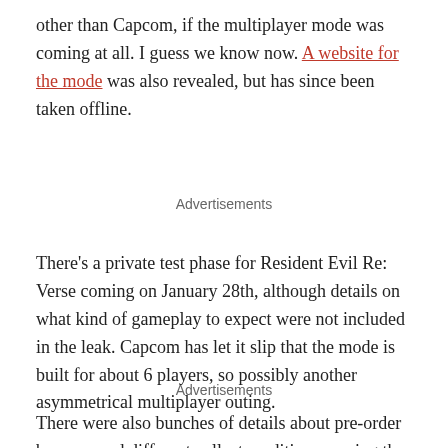other than Capcom, if the multiplayer mode was coming at all. I guess we know now. A website for the mode was also revealed, but has since been taken offline.
Advertisements
There's a private test phase for Resident Evil Re: Verse coming on January 28th, although details on what kind of gameplay to expect were not included in the leak. Capcom has let it slip that the mode is built for about 6 players, so possibly another asymmetrical multiplayer outing.
Advertisements
There were also bunches of details about pre-order bonuses and different collector editions coming the game. The